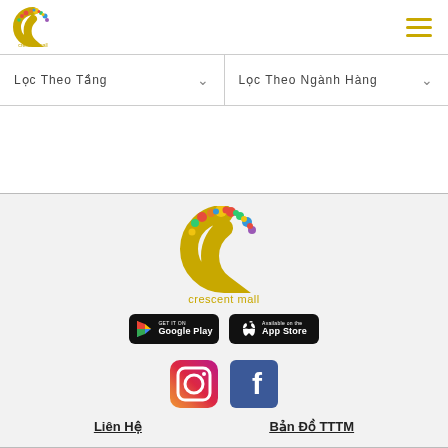[Figure (logo): Crescent Mall small logo in top left header]
[Figure (other): Hamburger menu icon (three horizontal golden lines) in top right header]
Lọc Theo Tầng
Lọc Theo Ngành Hàng
[Figure (logo): Crescent Mall large logo centered in footer area]
[Figure (other): Google Play store download button]
[Figure (other): Apple App Store download button]
[Figure (other): Instagram social media icon]
[Figure (other): Facebook social media icon]
Liên Hệ
Bản Đồ TTTM